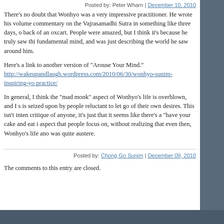Posted by: Peter Wharn | December 10, 2010
There's no doubt that Wonhyo was a very impressive practitioner. He wrote his volume commentary on the Vajrasamadhi Sutra in something like three days, on the back of an oxcart. People were amazed, but I think it's because he truly saw this fundamental mind, and was just describing the world he saw around him.
Here's a link to another version of "Arouse Your Mind." http://wakeupandlaugh.wordpress.com/2010/06/30/wonhyo-sunim-inspiring-you-practice/
In general, I think the "mad monk" aspect of Wonhyo's life is overblown, and I s is seized upon by people reluctant to let go of their own desires. This isn't inten critique of anyone, it's just that it seems like there's a "have your cake and eat i aspect that people focus on, without realizing that even then, Wonhyo's life and was quite austere.
Posted by: Chong Go Sunim | December 09, 2010
The comments to this entry are closed.